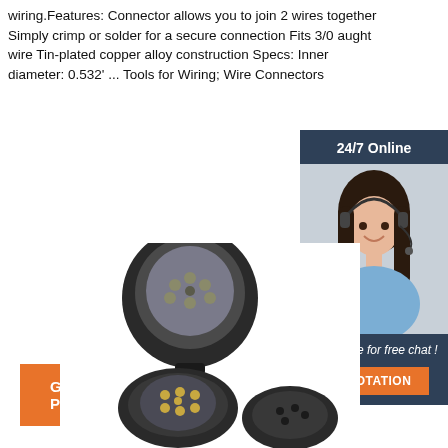wiring.Features: Connector allows you to join 2 wires together Simply crimp or solder for a secure connection Fits 3/0 aught wire Tin-plated copper alloy construction Specs: Inner diameter: 0.532' ... Tools for Wiring; Wire Connectors
[Figure (other): Orange 'Get Price' button]
[Figure (photo): 24/7 Online chat support sidebar with photo of woman wearing headset, 'Click here for free chat!' text, and orange QUOTATION button]
[Figure (photo): Product photo of black wire connector/plug components showing circular connector faces with multiple pins]